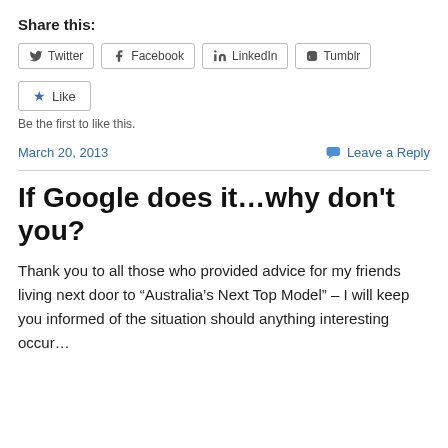Share this:
Twitter  Facebook  LinkedIn  Tumblr
Like
Be the first to like this.
March 20, 2013    Leave a Reply
If Google does it…why don't you?
Thank you to all those who provided advice for my friends living next door to “Australia’s Next Top Model” – I will keep you informed of the situation should anything interesting occur…